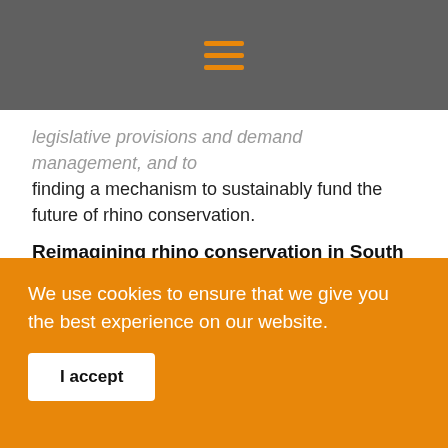legislative provisions and demand management, and to finding a mechanism to sustainably fund the future of rhino conservation.
Reimagining rhino conservation in South Africa
In this context, instead of asking how we can fund current rhino conservation efforts, we propose that we should be using the crisis to step back and ask how we can conserve rhino in a manner that best advances current and anticipated future national environmental, social and political landscapes. This requires that we set out a bold vision for rhino
We use cookies to ensure that we give you the best experience on our website.
I accept